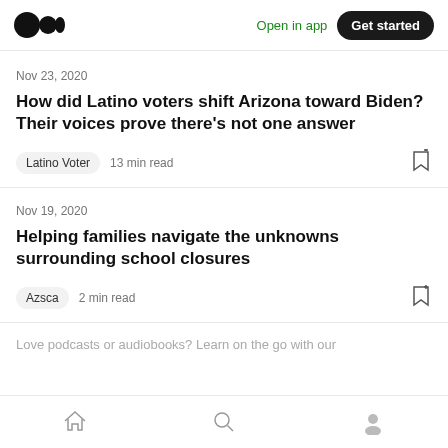Open in app | Get started
Nov 23, 2020
How did Latino voters shift Arizona toward Biden? Their voices prove there's not one answer
Latino Voter  13 min read
Nov 19, 2020
Helping families navigate the unknowns surrounding school closures
Azsca  2 min read
Love podcasts or audiobooks? Learn on the go with our
Home | Search | Profile